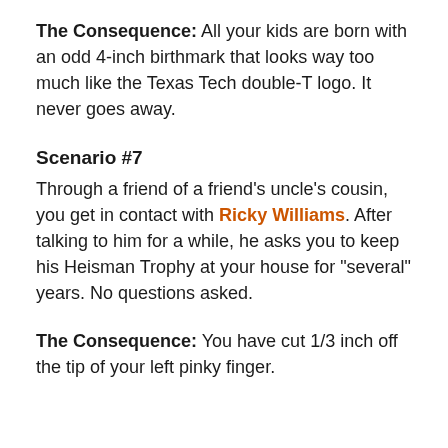The Consequence: All your kids are born with an odd 4-inch birthmark that looks way too much like the Texas Tech double-T logo. It never goes away.
Scenario #7
Through a friend of a friend's uncle's cousin, you get in contact with Ricky Williams. After talking to him for a while, he asks you to keep his Heisman Trophy at your house for "several" years. No questions asked.
The Consequence: You have cut 1/3 inch off the tip of your left pinky finger.